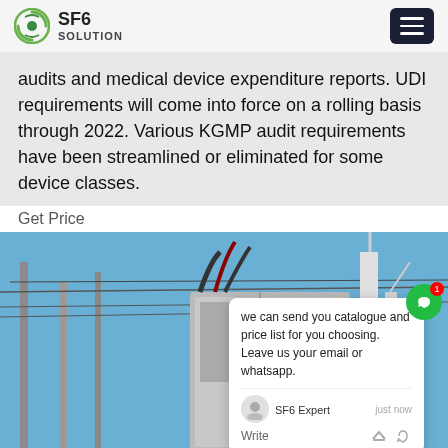SF6 SOLUTION
audits and medical device expenditure reports. UDI requirements will come into force on a rolling basis through 2022. Various KGMP audit requirements have been streamlined or eliminated for some device classes.
Get Price
[Figure (photo): Worker in blue hard hat and work uniform standing in front of electrical substation equipment and power lines, viewed from below against a blue sky.]